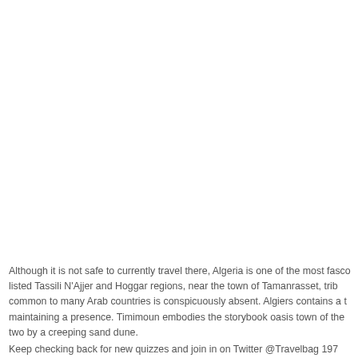Although it is not safe to currently travel there, Algeria is one of the most fasci listed Tassili N'Ajjer and Hoggar regions, near the town of Tamanrasset, trib common to many Arab countries is conspicuously absent. Algiers contains a t maintaining a presence. Timimoun embodies the storybook oasis town of the two by a creeping sand dune.
Keep checking back for new quizzes and join in on Twitter @Travelbag 197